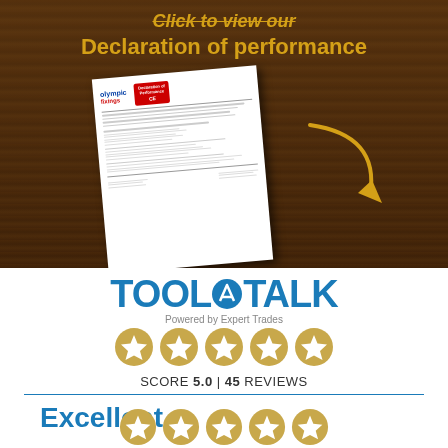[Figure (illustration): Brown wood-textured banner with golden italic text 'Click to view our Declaration of performance' and an image of the Olympic Fixings Declaration of Performance document with a CE badge, and a golden arrow pointing to it]
[Figure (logo): TOOLTALK logo - bold blue text with a wrench icon, subtitle 'Powered by Expert Trades']
[Figure (infographic): Five gold star rating icons in a row]
SCORE 5.0 | 45 REVIEWS
Excellent
[Figure (infographic): Five gold star rating icons in a row (second set at bottom)]